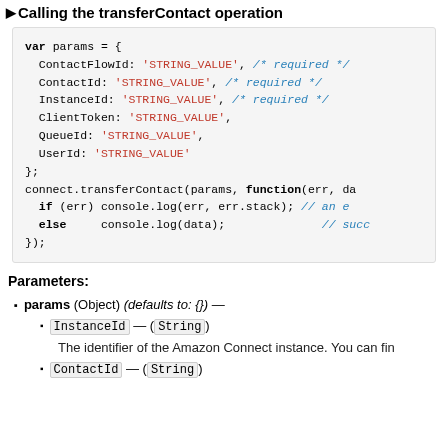Calling the transferContact operation
[Figure (screenshot): Code block showing JavaScript usage of transferContact operation with params object and callback function]
Parameters:
params (Object) (defaults to: {}) —
InstanceId — (String)
The identifier of the Amazon Connect instance. You can fin
ContactId — (String)